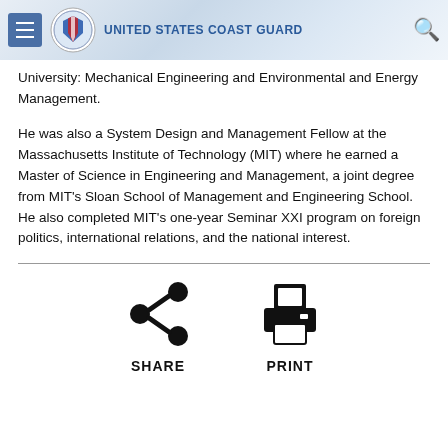United States Coast Guard
University: Mechanical Engineering and Environmental and Energy Management.
He was also a System Design and Management Fellow at the Massachusetts Institute of Technology (MIT) where he earned a Master of Science in Engineering and Management, a joint degree from MIT's Sloan School of Management and Engineering School. He also completed MIT's one-year Seminar XXI program on foreign politics, international relations, and the national interest.
[Figure (infographic): Share and Print action icons with labels SHARE and PRINT]